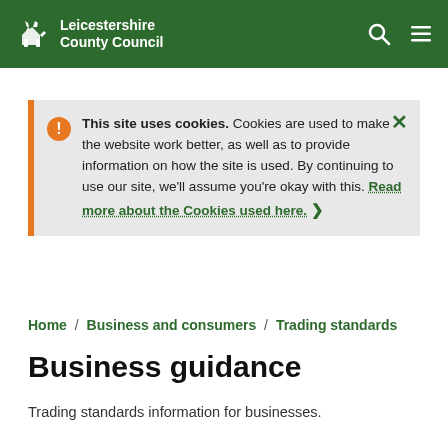[Figure (logo): Leicestershire County Council logo with white fox icon on green header background, search and menu icons on right]
This site uses cookies. Cookies are used to make the website work better, as well as to provide information on how the site is used. By continuing to use our site, we'll assume you're okay with this. Read more about the Cookies used here. ❯
Home / Business and consumers / Trading standards
Business guidance
Trading standards information for businesses.